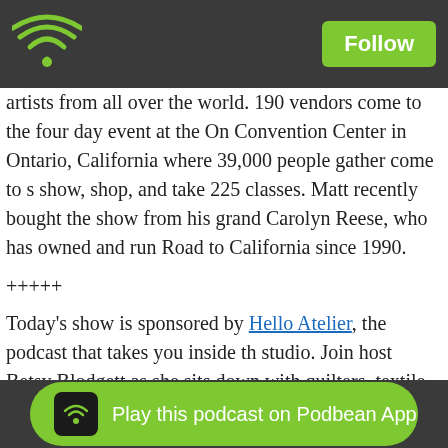[Figure (logo): Dark top bar with green WiFi icon on the left and a green Follow button on the right]
artists from all over the world. 190 vendors come to the four day event at the Ontario Convention Center in Ontario, California where 39,000 people gather come to see the show, shop, and take 225 classes. Matt recently bought the show from his grandmother Carolyn Reese, who has owned and run Road to California since 1990.
+++++
Today's show is sponsored by Hello Atelier, the podcast that takes you inside the studio. Join host Betsy Blodgett as she sits down with quilters, textile artists, ceramics, painters and more – many in their very own studios. Further immerse yourself in their worlds by visiting www.helloatelier.org to see photos from our studio visits and learn about each artist's work. Then, sign up for the Hello Atelier newsletter for bonus interviews with makers and entrepreneurs – past guests include While She Naps' Abby Glassenberg!
Hello Atelier is available on your favorite podcast app. Check out our most recent episode, an interview with quilt designer Luke Haynes. If you like what you hear, subscribe and
[Figure (other): Green rounded Play this podcast on Podbean App button at the bottom]